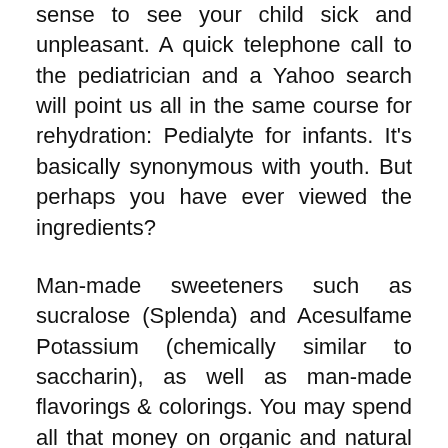sense to see your child sick and unpleasant. A quick telephone call to the pediatrician and a Yahoo search will point us all in the same course for rehydration: Pedialyte for infants. It's basically synonymous with youth. But perhaps you have ever viewed the ingredients?
Man-made sweeteners such as sucralose (Splenda) and Acesulfame Potassium (chemically similar to saccharin), as well as man-made flavorings & colorings. You may spend all that money on organic and natural foods for your kiddos, so it will not make much sense to load them challenging things you normally avoid whenever your little ones are at their weakest. A Pedialyte alternatives is a straightforward solution to the issue. Together with everything that, Pedialyte is very